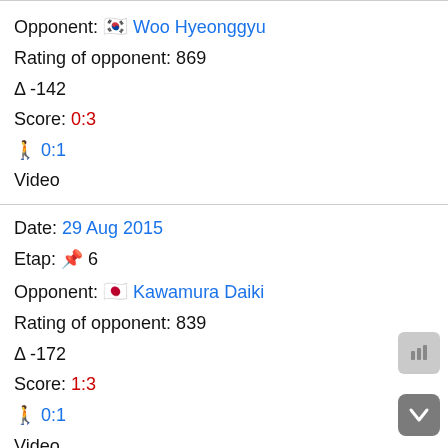Opponent: 🇰🇷 Woo Hyeonggyu
Rating of opponent: 869
Δ -142
Score: 0:3
🚶 0:1
Video
Date: 29 Aug 2015
Etap: 📌 6
Opponent: 🇯🇵 Kawamura Daiki
Rating of opponent: 839
Δ -172
Score: 1:3
🚶 0:1
Video
Date: 29 Aug 2015
Etap: 📌 8
Opponent: 🇰🇷 Song Junhyun
Rating of opponent: 1123